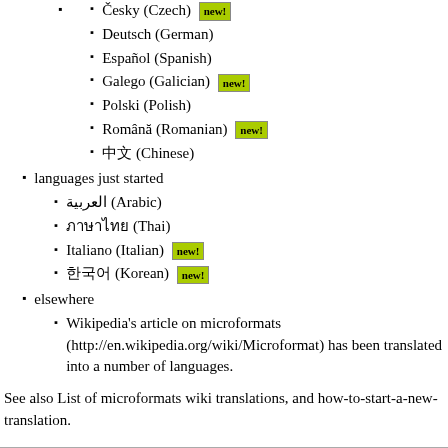Česky (Czech) new!
Deutsch (German)
Español (Spanish)
Galego (Galician) new!
Polski (Polish)
Română (Romanian) new!
中文 (Chinese)
languages just started
العربية (Arabic)
ภาษาไทย (Thai)
Italiano (Italian) new!
한국어 (Korean) new!
elsewhere
Wikipedia's article on microformats (http://en.wikipedia.org/wiki/Microformat) has been translated into a number of languages.
See also List of microformats wiki translations, and how-to-start-a-new-translation.
Retrieved from "http://microformats.org/wiki/index.php?title=Main_Page-ko&oldid=52484"